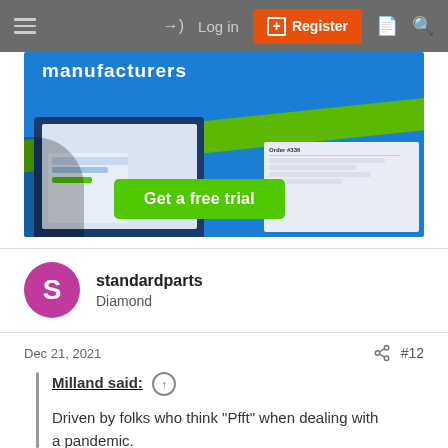Log in | Register
[Figure (screenshot): Advertisement banner showing manufacturing software with 'Get a free trial' call-to-action button on blue background with green stripe]
standardparts
Diamond
Dec 21, 2021	#12
Milland said: ↑

Driven by folks who think "Pfft" when dealing with a pandemic.